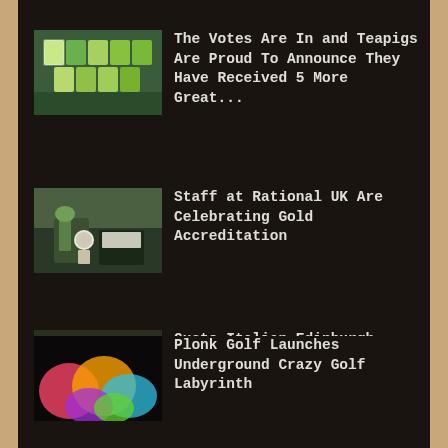[Figure (photo): Stacked tea/product boxes on a shelf - Teapigs product image]
The Votes Are In and Teapigs Are Proud To Announce They Have Received 5 More Great...
[Figure (photo): Office/workplace scene with plants and a branded cup - Rational UK]
Staff at Rational UK Are Celebrating Gold Accreditation
[Figure (photo): Restaurant exterior storefront - Gusto Italian Edinburgh]
Gusto Italian Edinburgh Reopens After £250K Makeover
[Figure (photo): Colorful psychedelic underground crazy golf course - Plonk Golf]
Plonk Golf Launches Underground Crazy Golf Labyrinth